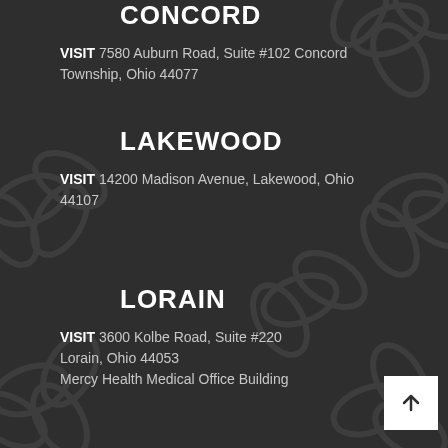CONCORD
VISIT 7580 Auburn Road, Suite #102 Concord Township, Ohio 44077
LAKEWOOD
VISIT 14200 Madison Avenue, Lakewood, Ohio 44107
LORAIN
VISIT 3600 Kolbe Road, Suite #220 Lorain, Ohio 44053 Mercy Health Medical Office Building